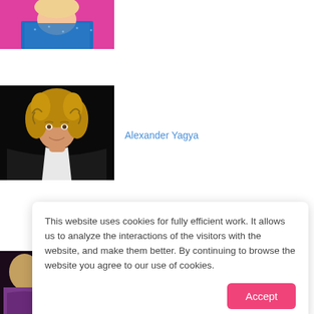[Figure (photo): Cropped photo of a person in a blue sequined outfit against a pink background, partially visible at top]
[Figure (photo): Portrait photo of Alexander Yagya, a man with curly blond hair wearing a dark blazer and white shirt, against a black background]
Alexander Yagya
[Figure (photo): Partially visible photo of a person in colorful/purple clothing at the bottom left]
This website uses cookies for fully efficient work. It allows us to analyze the interactions of the visitors with the website, and make them better. By continuing to browse the website you agree to our use of cookies.
Accept